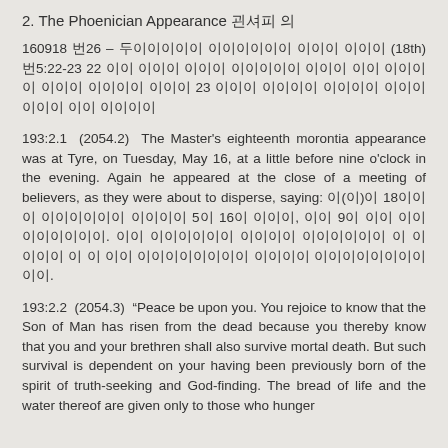2. The Phoenician Appearance 피닉션 의
160918 번26 – 두이이이이 이이이이 이이이 이이이 (18th) 번5:22-23 22 이이 이이이 이이이 이이이이 이이이 이이 이이이이 이이이 이이이이 이이이 23 이이이 이이이이 이이이이 이이이이 이이이 이이이이
193:2.1 (2054.2) The Master's eighteenth morontia appearance was at Tyre, on Tuesday, May 16, at a little before nine o'clock in the evening. Again he appeared at the close of a meeting of believers, as they were about to disperse, saying: 이(이)이 18이이 이이이이 이이이이 5이 16이 이이이, 이이 9이 이이 이이 이이이이이이. 이이 이이이이이 이이이이 이이이이이 이 이이이 이 이 이이 이이이이이이이 이이이이 이이이이이이이이이이.
193:2.2 (2054.3) "Peace be upon you. You rejoice to know that the Son of Man has risen from the dead because you thereby know that you and your brethren shall also survive mortal death. But such survival is dependent on your having been previously born of the spirit of truth-seeking and God-finding. The bread of life and the water thereof are given only to those who hunger